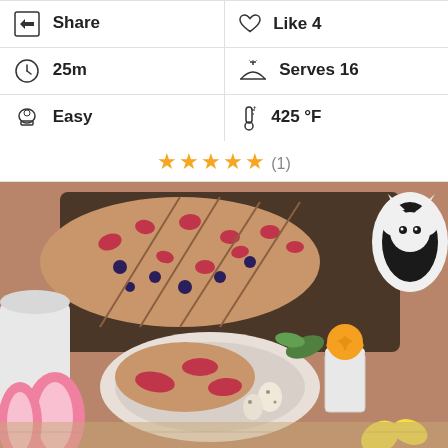| 25m | Serves 16 |
| Easy | 425 °F |
★★★★★ (1)
[Figure (photo): Food photo showing sliced flatbread/pizza topped with strawberries and blueberries on a baking tray, served on a plate, with quail eggs, an egg cup with an orange flower, a black and white cat figurine, and pink rabbit ears in foreground, on a wooden surface.]